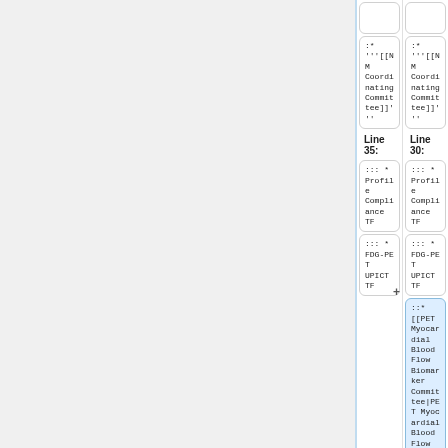:* '''[[NM Coordinating Committee]]'''
:* '''[[NM Coordinating Committee]]'''
Line 35:
Line 30:
:::* Profile Compliance TF
:::* Profile Compliance TF
:::* FDG-PET UPICT TF
:::* FDG-PET UPICT TF
::* [[PET Myocardial Blood Flow Biomarker Committee|PET Myocardial Blood Flow